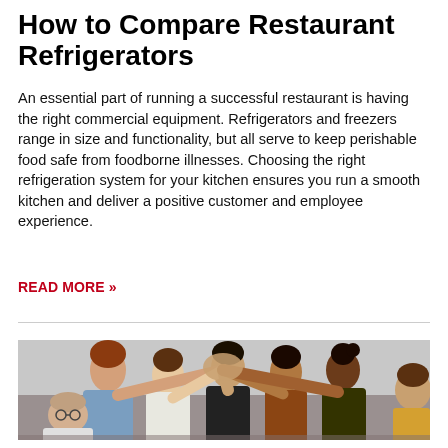How to Compare Restaurant Refrigerators
An essential part of running a successful restaurant is having the right commercial equipment. Refrigerators and freezers range in size and functionality, but all serve to keep perishable food safe from foodborne illnesses. Choosing the right refrigeration system for your kitchen ensures you run a smooth kitchen and deliver a positive customer and employee experience.
READ MORE »
[Figure (photo): A group of diverse people doing a team high-five gesture in the center of a circle, viewed from the side. The group includes people of different ethnicities and hair colors.]